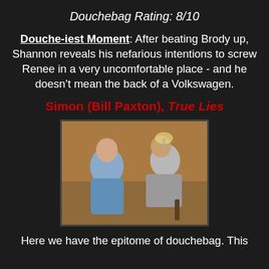Douchebag Rating: 8/10
Douche-iest Moment: After beating Brody up, Shannon reveals his nefarious intentions to screw Renee in a very uncomfortable place - and he doesn't mean the back of a Volkswagen.
Simon (Bill Paxton), True Lies
[Figure (photo): A man and woman in a room, the man leaning in close toward the seated woman, from the movie True Lies]
Here we have the epitome of douchebag. This